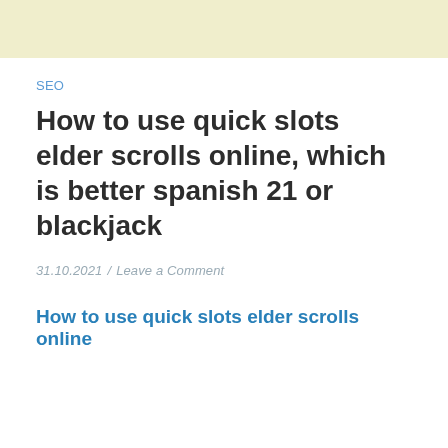SEO
How to use quick slots elder scrolls online, which is better spanish 21 or blackjack
31.10.2021 /  Leave a Comment
How to use quick slots elder scrolls online